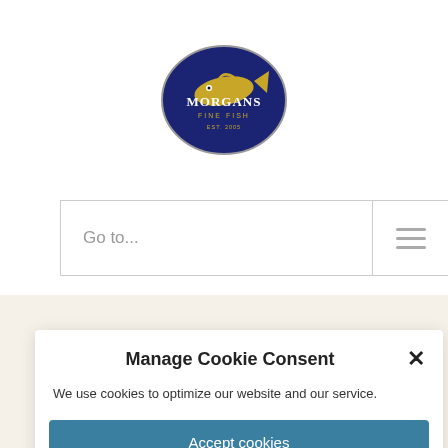[Figure (logo): Morgans Fine Fish logo — dark navy oval with a golden fish and text 'MORGANS FINE FISH EST. 2005']
Go to...
[Figure (other): Hamburger menu icon (three horizontal bars)]
Manage Cookie Consent
We use cookies to optimize our website and our service.
Accept cookies
Deny